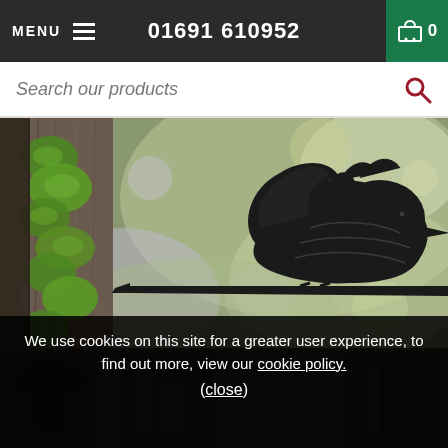MENU  01691 610952  0
Search our products
[Figure (photo): A metal bird silhouette (nuthatch/small bird) on a branch, placed against a mossy tree trunk on the left and a blurred green/purple bokeh background. The bird is a flat black metal cutout art piece.]
We use cookies on this site for a greater user experience, to find out more, view our cookie policy.
(close)
[Figure (photo): Partial bottom strip showing dark product thumbnails against a dark brown background]